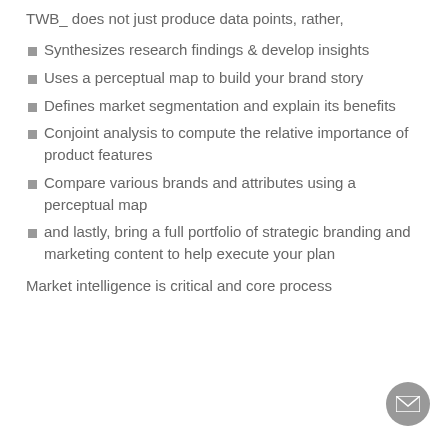TWB_ does not just produce data points, rather,
Synthesizes research findings & develop insights
Uses a perceptual map to build your brand story
Defines market segmentation and explain its benefits
Conjoint analysis to compute the relative importance of product features
Compare various brands and attributes using a perceptual map
and lastly, bring a full portfolio of strategic branding and marketing content to help execute your plan
Market intelligence is critical and core process